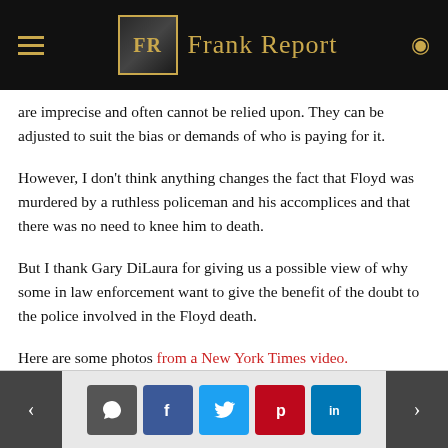FR Frank Report
are imprecise and often cannot be relied upon. They can be adjusted to suit the bias or demands of who is paying for it.
However, I don't think anything changes the fact that Floyd was murdered by a ruthless policeman and his accomplices and that there was no need to knee him to death.
But I thank Gary DiLaura for giving us a possible view of why some in law enforcement want to give the benefit of the doubt to the police involved in the Floyd death.
Here are some photos from a New York Times video.
< comment facebook twitter pinterest linkedin >